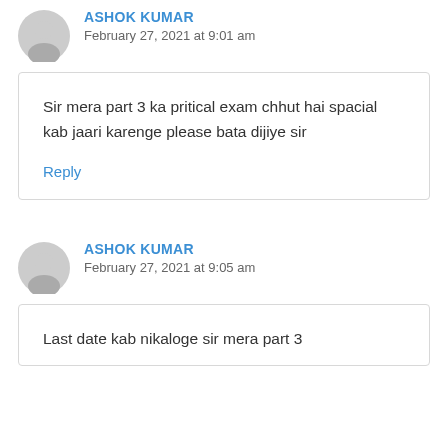ASHOK KUMAR
February 27, 2021 at 9:01 am
Sir mera part 3 ka pritical exam chhut hai spacial kab jaari karenge please bata dijiye sir
Reply
ASHOK KUMAR
February 27, 2021 at 9:05 am
Last date kab nikaloge sir mera part 3